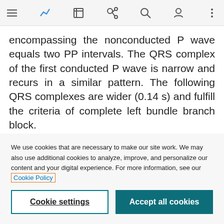Toolbar with navigation icons
encompassing the nonconducted P wave equals two PP intervals. The QRS complex of the first conducted P wave is narrow and recurs in a similar pattern. The following QRS complexes are wider (0.14 s) and fulfill the criteria of complete left bundle branch block. Mobitz type II pattern in the setting of left
We use cookies that are necessary to make our site work. We may also use additional cookies to analyze, improve, and personalize our content and your digital experience. For more information, see our Cookie Policy
Cookie settings
Accept all cookies